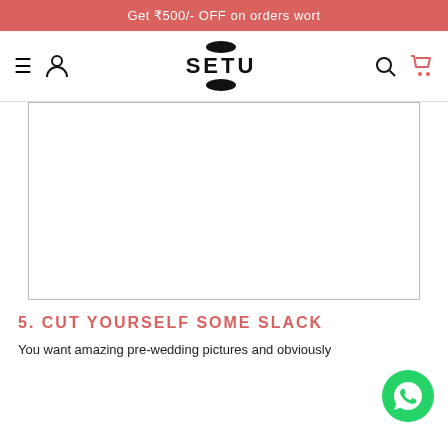Get ₹500/- OFF on orders wort
[Figure (logo): SETU brand logo with hamburger menu, user icon, search icon, and cart icon in navigation bar]
[Figure (photo): Large image placeholder area with white background and border]
5. CUT YOURSELF SOME SLACK
You want amazing pre-wedding pictures and obviously